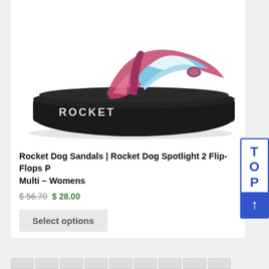[Figure (photo): Rocket Dog flip-flop sandal with tie-dye pink, blue and white strap on a black platform sole, side view on white background. 'ROCKET' text visible on the sole.]
Rocket Dog Sandals | Rocket Dog Spotlight 2 Flip-Flops Pink Multi – Womens
$ 56.70  $ 28.00
Select options